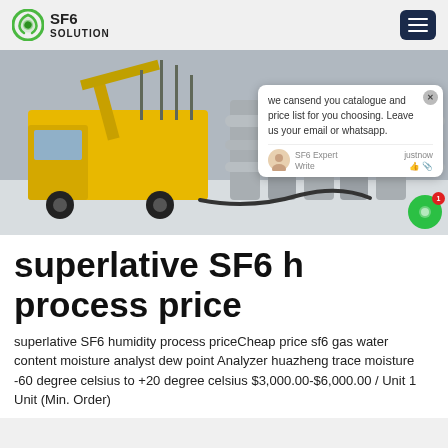SF6 SOLUTION
[Figure (photo): Yellow utility/maintenance truck parked at an electrical substation with large pipes and equipment in the background, winter setting with snow on the ground.]
we cansend you catalogue and price list for you choosing. Leave us your email or whatsapp.
superlative SF6 humidity process price
superlative SF6 humidity process priceCheap price sf6 gas water content moisture analyst dew point Analyzer huazheng trace moisture -60 degree celsius to +20 degree celsius $3,000.00-$6,000.00 / Unit 1 Unit (Min. Order)